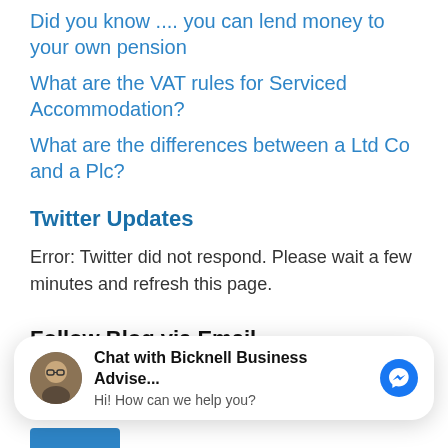Did you know .... you can lend money to your own pension
What are the VAT rules for Serviced Accommodation?
What are the differences between a Ltd Co and a Plc?
Twitter Updates
Error: Twitter did not respond. Please wait a few minutes and refresh this page.
Follow Blog via Email
Enter your email address to follow this blog and receive notifications of new posts by email.
[Figure (other): Chat widget overlay: avatar photo of a person with glasses, bold text 'Chat with Bicknell Business Advise...', subtext 'Hi! How can we help you?', and a blue Messenger icon button on the right.]